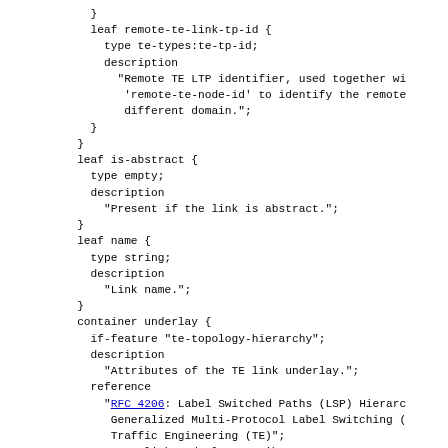}
            leaf remote-te-link-tp-id {
              type te-types:te-tp-id;
              description
                "Remote TE LTP identifier, used together wi
                 'remote-te-node-id' to identify the remote
                 different domain.";
            }
          }
          leaf is-abstract {
            type empty;
            description
              "Present if the link is abstract.";
          }
          leaf name {
            type string;
            description
              "Link name.";
          }
          container underlay {
            if-feature "te-topology-hierarchy";
            description
              "Attributes of the TE link underlay.";
            reference
              "RFC 4206: Label Switched Paths (LSP) Hierarc
               Generalized Multi-Protocol Label Switching (
               Traffic Engineering (TE)";
            uses te-link-underlay-attributes;
          }
          leaf admin-status {